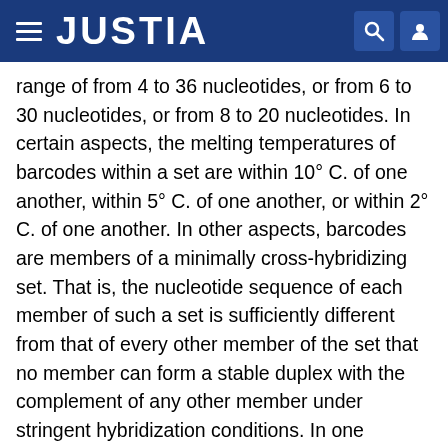JUSTIA
range of from 4 to 36 nucleotides, or from 6 to 30 nucleotides, or from 8 to 20 nucleotides. In certain aspects, the melting temperatures of barcodes within a set are within 10° C. of one another, within 5° C. of one another, or within 2° C. of one another. In other aspects, barcodes are members of a minimally cross-hybridizing set. That is, the nucleotide sequence of each member of such a set is sufficiently different from that of every other member of the set that no member can form a stable duplex with the complement of any other member under stringent hybridization conditions. In one aspect, the nucleotide sequence of each member of a minimally cross-hybridizing set differs from those of every other member by at least two nucleotides. Barcode technologies are known in the art and are described in Winzeler et al. (1999) Science 285:901; Brenner (2000) Genome Biol. 1:1 Kumar et al. (2001)